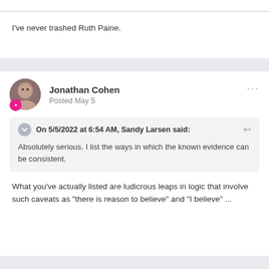I've never trashed Ruth Paine.
Jonathan Cohen
Posted May 5
On 5/5/2022 at 6:54 AM, Sandy Larsen said:
Absolutely serious. I list the ways in which the known evidence can be consistent.
What you've actually listed are ludicrous leaps in logic that involve such caveats as "there is reason to believe" and "I believe" ...